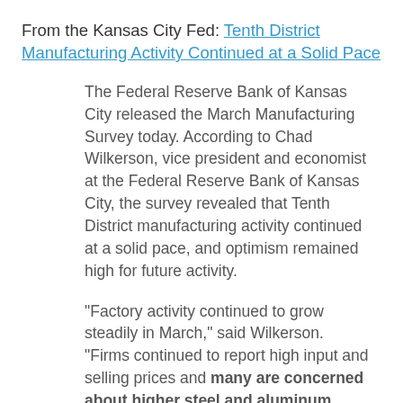From the Kansas City Fed: Tenth District Manufacturing Activity Continued at a Solid Pace
The Federal Reserve Bank of Kansas City released the March Manufacturing Survey today. According to Chad Wilkerson, vice president and economist at the Federal Reserve Bank of Kansas City, the survey revealed that Tenth District manufacturing activity continued at a solid pace, and optimism remained high for future activity.
“Factory activity continued to grow steadily in March,” said Wilkerson. “Firms continued to report high input and selling prices and many are concerned about higher steel and aluminum tariffs.”
...
The month-over-month composite index was 17 in March, equal to 17 in February and higher than 16 in January. The composite index is an average of the production, new orders...